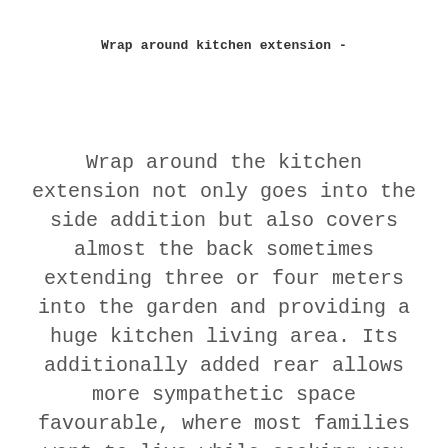Wrap around kitchen extension -
Wrap around the kitchen extension not only goes into the side addition but also covers almost the back sometimes extending three or four meters into the garden and providing a huge kitchen living area. Its additionally added rear allows more sympathetic space favourable, where most families want to live while cooking you can watch on the children watching tv or playing in the garden through folding sliding doors. It gives an option to